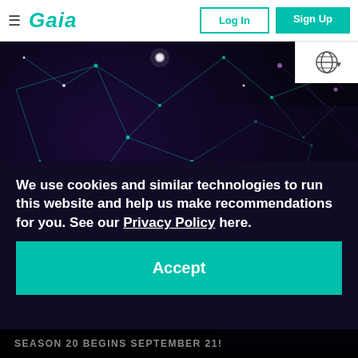≡ Gaia | Log In | Sign Up
[Figure (screenshot): Hero image of Gaia streaming website showing a man with a mustache in a dark suit against a purple/teal cosmic network background. Globe language selector button in top right of hero area. Partially visible show title 'Beyond Belief' in the background.]
We use cookies and similar technologies to run this website and help us make recommendations for you. See our Privacy Policy here.
Accept
SEASON 20 BEGINS SEPTEMBER 21!